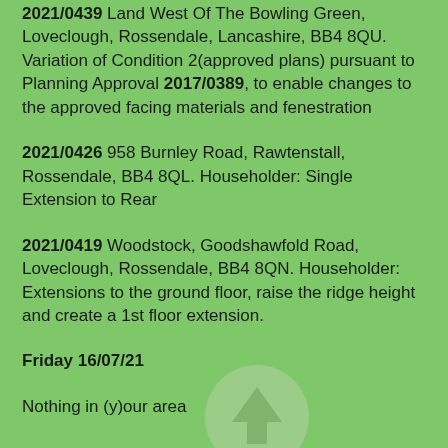2021/0439 Land West Of The Bowling Green, Loveclough, Rossendale, Lancashire, BB4 8QU. Variation of Condition 2(approved plans) pursuant to Planning Approval 2017/0389, to enable changes to the approved facing materials and fenestration
2021/0426 958 Burnley Road, Rawtenstall, Rossendale, BB4 8QL. Householder: Single Extension to Rear
2021/0419 Woodstock, Goodshawfold Road, Loveclough, Rossendale, BB4 8QN. Householder: Extensions to the ground floor, raise the ridge height and create a 1st floor extension.
Friday 16/07/21
Nothing in (y)our area